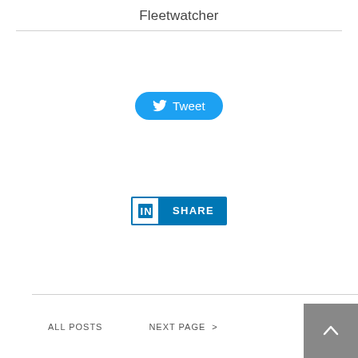Fleetwatcher
[Figure (screenshot): Tweet button - blue rounded button with Twitter bird icon and text 'Tweet']
[Figure (screenshot): LinkedIn Share button - blue rectangular button with LinkedIn 'in' logo icon and text 'SHARE']
ALL POSTS   NEXT PAGE >